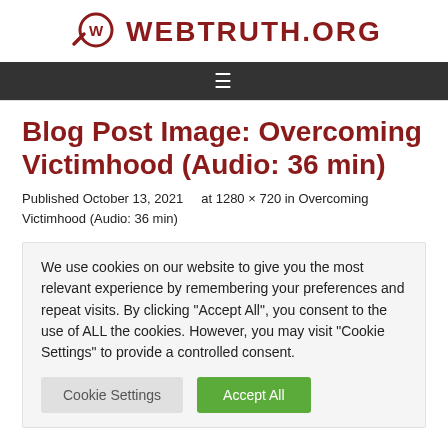[Figure (logo): WebTruth.org logo with magnifying glass icon and W in circle, dark red text]
☰
Blog Post Image: Overcoming Victimhood (Audio: 36 min)
Published October 13, 2021     at 1280 × 720 in Overcoming Victimhood (Audio: 36 min)
We use cookies on our website to give you the most relevant experience by remembering your preferences and repeat visits. By clicking "Accept All", you consent to the use of ALL the cookies. However, you may visit "Cookie Settings" to provide a controlled consent.